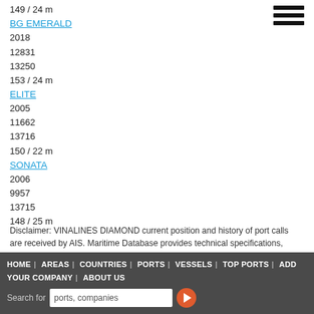149 / 24 m
BG EMERALD
2018
12831
13250
153 / 24 m
ELITE
2005
11662
13716
150 / 22 m
SONATA
2006
9957
13715
148 / 25 m
Disclaimer: VINALINES DIAMOND current position and history of port calls are received by AIS. Maritime Database provides technical specifications, tonnages, and management information. The information is provided by Maritime Database for free and without any assurance. VINALINES DIAMOND data is provided for informational reasons only, and Maritime Database assumes no responsibility for its accuracy or reliability.
HOME | AREAS | COUNTRIES | PORTS | VESSELS | TOP PORTS | ADD YOUR COMPANY | ABOUT US  Search for ports, companies